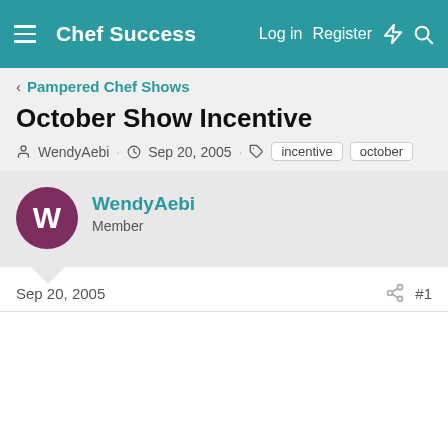Chef Success  Log in  Register
Pampered Chef Shows
October Show Incentive
WendyAebi · Sep 20, 2005 · incentive  october
WendyAebi
Member
Sep 20, 2005  #1